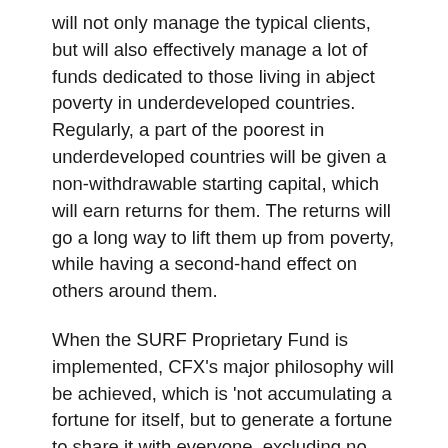will not only manage the typical clients, but will also effectively manage a lot of funds dedicated to those living in abject poverty in underdeveloped countries. Regularly, a part of the poorest in underdeveloped countries will be given a non-withdrawable starting capital, which will earn returns for them. The returns will go a long way to lift them up from poverty, while having a second-hand effect on others around them.
When the SURF Proprietary Fund is implemented, CFX's major philosophy will be achieved, which is 'not accumulating a fortune for itself, but to generate a fortune to share it with everyone, excluding no one.'
New Solutions
CFX ecosystem will be besieged with innovative solutions that...